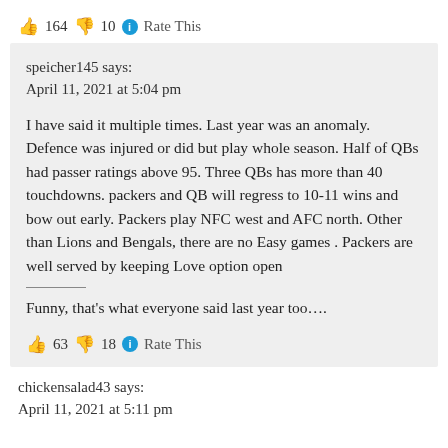👍 164 👎 10 ℹ Rate This
speicher145 says:
April 11, 2021 at 5:04 pm
I have said it multiple times. Last year was an anomaly. Defence was injured or did but play whole season. Half of QBs had passer ratings above 95. Three QBs has more than 40 touchdowns. packers and QB will regress to 10-11 wins and bow out early. Packers play NFC west and AFC north. Other than Lions and Bengals, there are no Easy games . Packers are well served by keeping Love option open
Funny, that's what everyone said last year too….
👍 63 👎 18 ℹ Rate This
chickensalad43 says:
April 11, 2021 at 5:11 pm